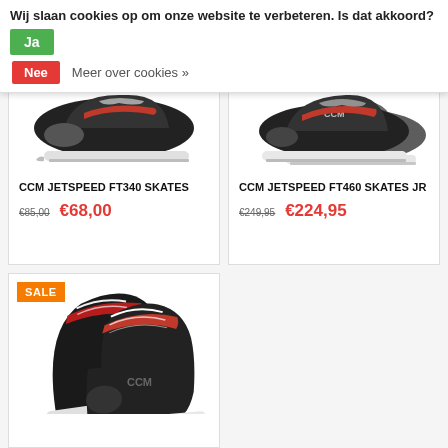Wij slaan cookies op om onze website te verbeteren. Is dat akkoord? Ja
Nee  Meer over cookies »
[Figure (photo): Hockey skate product photo – CCM Jetspeed FT340, side view showing blade and boot bottom, black and red colorway]
CCM JETSPEED FT340 SKATES
€85,00  €68,00
[Figure (photo): Hockey skate product photo – CCM Jetspeed FT460 JR, side view showing CCM logo, black red and white colorway]
CCM JETSPEED FT460 SKATES JR
€249,95  €224,95
[Figure (photo): Hockey skate product photo with SALE badge – CCM skates, full pair angled view, black and red colorway with white blade holders]